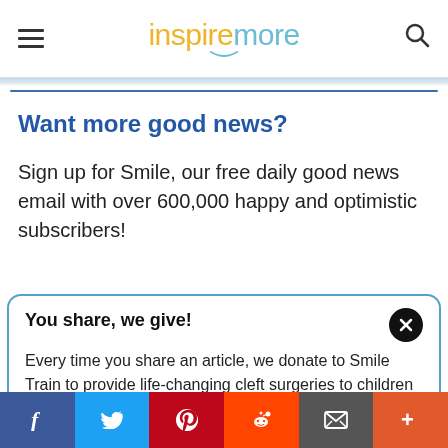inspiremore
Want more good news?
Sign up for Smile, our free daily good news email with over 600,000 happy and optimistic subscribers!
You share, we give! Every time you share an article, we donate to Smile Train to provide life-changing cleft surgeries to children in need. $11.10 raised today! Learn more here.
Social share buttons: Facebook, Twitter, Pinterest, Reddit, Email, More